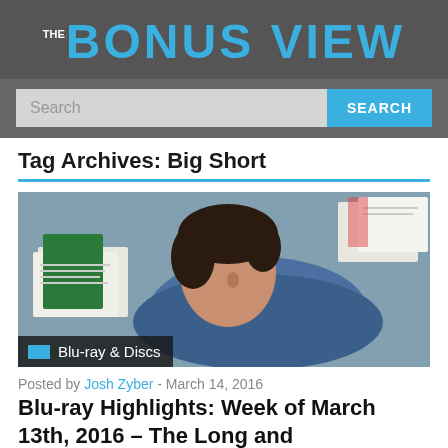THE BONUS VIEW
Search
Tag Archives: Big Short
[Figure (photo): A man lying on the floor looking up, with books and papers around him. A blue shirt with a logo. Overlay label reads 'Blu-ray & Discs'.]
Posted by Josh Zyber -  March 14, 2016
Blu-ray Highlights: Week of March 13th, 2016 – The Long and